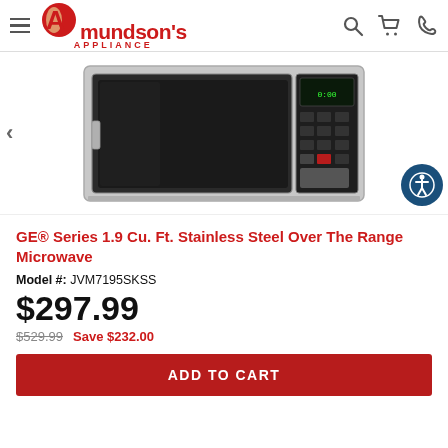Amundson's APPLIANCE
[Figure (photo): Stainless steel over-the-range microwave oven, front/side view showing door, window, and control panel]
GE® Series 1.9 Cu. Ft. Stainless Steel Over The Range Microwave
Model #: JVM7195SKSS
$297.99
$529.99  Save $232.00
ADD TO CART